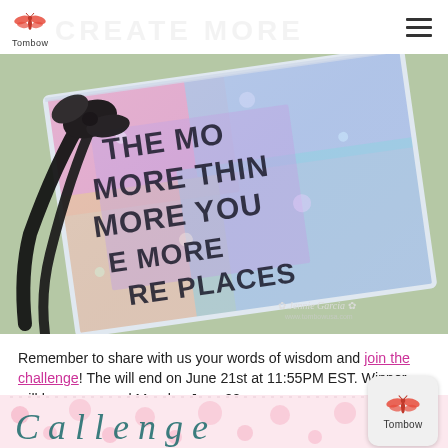Tombow
[Figure (photo): Close-up photograph of a handmade craft project — a colorful holographic/iridescent card or bookmark with stamped text reading 'THE MORE THINGS MORE YOU E MORE YOU PLACES' with a black ribbon tied through it. Watermark reads 'Jennie Garcia' in the lower right. Background is light green/sage.]
Remember to share with us your words of wisdom and join the challenge! The will end on June 21st at 11:55PM EST. Winner will be announced Monday June 22.
[Figure (illustration): Bottom decorative banner with pink polka-dot/heart pattern background and teal/dark green cursive-style text partially visible. A Tombow logo badge appears in the lower right corner.]